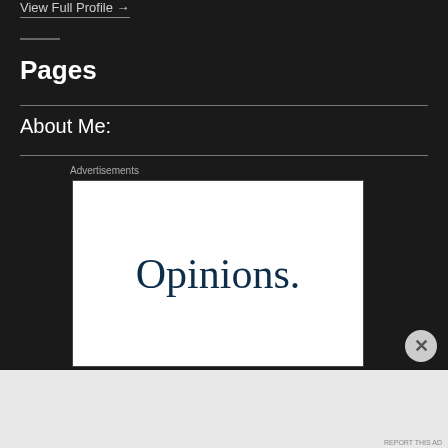View Full Profile →
Pages
About Me:
Advertisements
[Figure (other): Advertisement banner with large text reading 'Opinions.' in dark navy serif font on white background]
Advertisements
AUTOMATTIC
Build a better web and a better world.